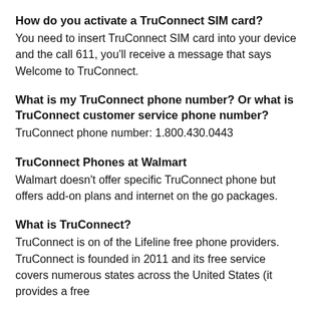How do you activate a TruConnect SIM card?
You need to insert TruConnect SIM card into your device and the call 611, you'll receive a message that says Welcome to TruConnect.
What is my TruConnect phone number? Or what is TruConnect customer service phone number?
TruConnect phone number: 1.800.430.0443
TruConnect Phones at Walmart
Walmart doesn't offer specific TruConnect phone but offers add-on plans and internet on the go packages.
What is TruConnect?
TruConnect is on of the Lifeline free phone providers. TruConnect is founded in 2011 and its free service covers numerous states across the United States (it provides a free